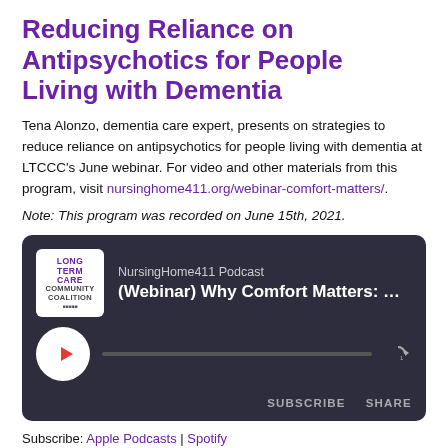Reducing Reliance on Antipsychotics for People Living with Dementia
Tena Alonzo, dementia care expert, presents on strategies to reduce reliance on antipsychotics for people living with dementia at LTCCC's June webinar. For video and other materials from this program, visit nursinghome411.org/webinar-comfort-matters/.
Note: This program was recorded on June 15th, 2021.
[Figure (screenshot): Embedded podcast player (dark background) showing NursingHome411 Podcast episode titled '(Webinar) Why Comfort Matters: Redu...' with play button, progress bar, SUBSCRIBE and SHARE buttons]
Subscribe: Apple Podcasts | Spotify